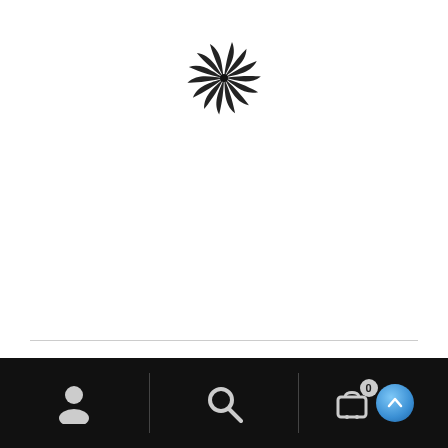[Figure (logo): Spiral / swirl logo icon in black on white background]
Sixth Chakra Educational Manual
$25.00
Add to cart
Navigation bar with user icon, search icon, cart icon (badge: 0), and scroll-to-top button